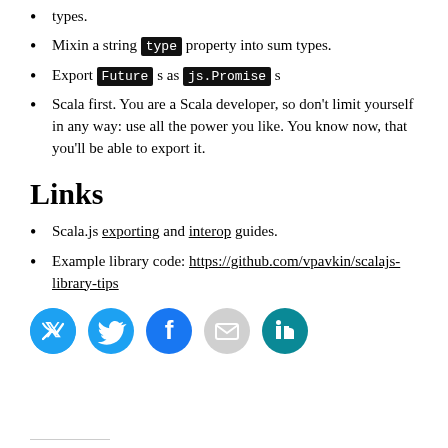types.
Mixin a string type property into sum types.
Export Futures as js.Promises
Scala first. You are a Scala developer, so don't limit yourself in any way: use all the power you like. You know now, that you'll be able to export it.
Links
Scala.js exporting and interop guides.
Example library code: https://github.com/vpavkin/scalajs-library-tips
[Figure (infographic): Four social media share buttons: Twitter (blue), Facebook (blue), Email (gray), LinkedIn (teal)]